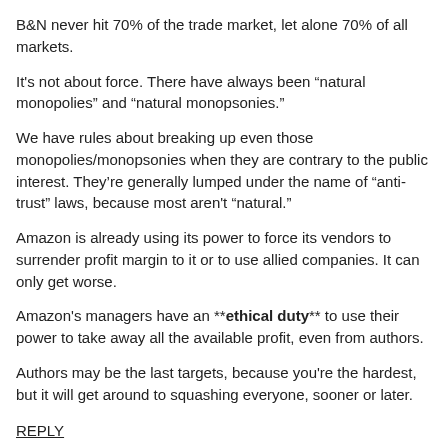B&N never hit 70% of the trade market, let alone 70% of all markets.
It's not about force. There have always been “natural monopolies” and “natural monopsonies.”
We have rules about breaking up even those monopolies/monopsonies when they are contrary to the public interest. They’re generally lumped under the name of “anti-trust” laws, because most aren't “natural.”
Amazon is already using its power to force its vendors to surrender profit margin to it or to use allied companies. It can only get worse.
Amazon's managers have an **ethical duty** to use their power to take away all the available profit, even from authors.
Authors may be the last targets, because you're the hardest, but it will get around to squashing everyone, sooner or later.
REPLY